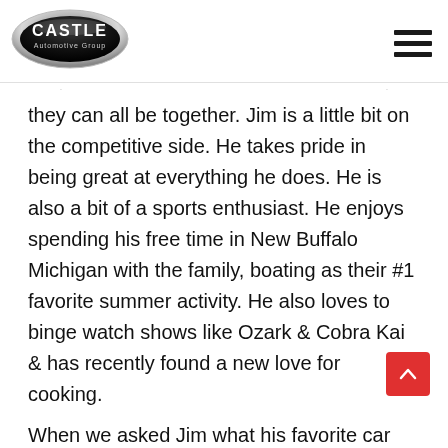[Figure (logo): Castle Automotive Group oval logo, black with chrome border, white text]
they can all be together. Jim is a little bit on the competitive side. He takes pride in being great at everything he does. He is also a bit of a sports enthusiast. He enjoys spending his free time in New Buffalo Michigan with the family, boating as their #1 favorite summer activity. He also loves to binge watch shows like Ozark & Cobra Kai & has recently found a new love for cooking.
When we asked Jim what his favorite car was